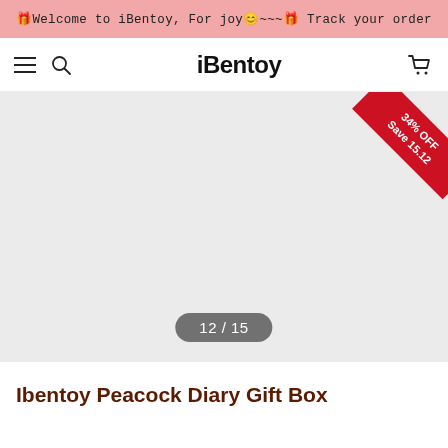🎁Welcome to iBentoy, For joy😊~~~🎁 Track your order
iBentoy
[Figure (screenshot): Product image area showing a light gray placeholder, with a red diagonal discount badge in the top-right corner reading '34% OFF Save 15.12', and a pill-shaped page indicator at the bottom center showing '12 / 15'.]
Ibentoy Peacock Diary Gift Box